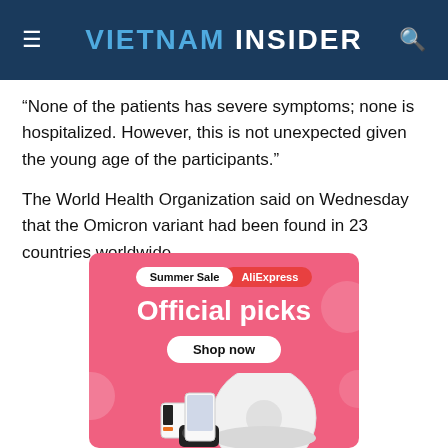VIETNAM INSIDER
“None of the patients has severe symptoms; none is hospitalized. However, this is not unexpected given the young age of the participants.”
The World Health Organization said on Wednesday that the Omicron variant had been found in 23 countries worldwide.
[Figure (infographic): AliExpress Summer Sale advertisement banner with pink background showing 'Official picks' text, Shop now button, and product images including a robot vacuum and gaming console.]